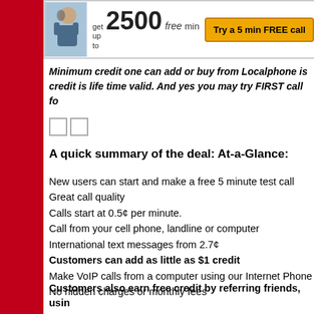[Figure (other): Advertisement banner for Localphone: person with headset, text 'get up to 2500 free min', and a yellow button 'Try a 5 min FREE call']
Minimum credit one can add or buy from Localphone is credit is life time valid. And yes you may try FIRST call fo
[Figure (other): Two small checkbox squares]
A quick summary of the deal: At-a-Glance:
New users can start and make a free 5 minute test call
Great call quality
Calls start at 0.5¢ per minute.
Call from your cell phone, landline or computer
International text messages from 2.7¢
Customers can add as little as $1 credit
Make VoIP calls from a computer using our Internet Phone
No hidden charges or monthly fees
Customers also earn free credit by referring friends, usin